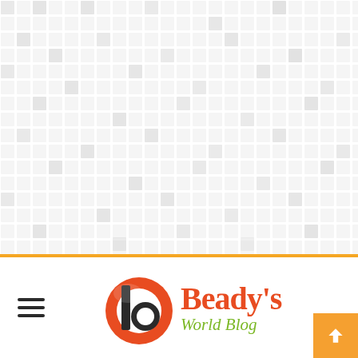[Figure (illustration): Light gray mosaic tile background pattern filling the upper portion of the page]
[Figure (logo): Beady's World Blog logo: a round red circular icon with a 'b' letterform, next to bold red text 'Beady's' and green italic text 'World Blog']